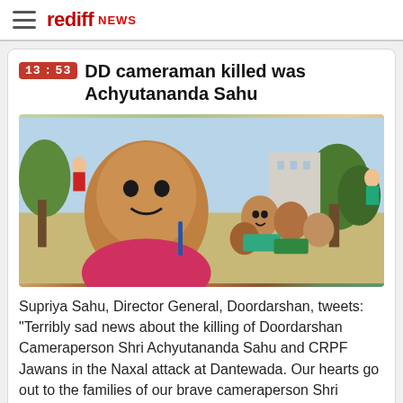rediff NEWS
13:53 DD cameraman killed was Achyutananda Sahu
[Figure (photo): Selfie photo of Achyutananda Sahu in a pink/red shirt with several children outdoors on a sports ground with trees in background]
Supriya Sahu, Director General, Doordarshan, tweets: "Terribly sad news about the killing of Doordarshan Cameraperson Shri Achyutananda Sahu and CRPF Jawans in the Naxal attack at Dantewada. Our hearts go out to the families of our brave cameraperson Shri Achyutananda Sahu and CRPF Jawans who laid down their lives in the line of duty. Salute and respect